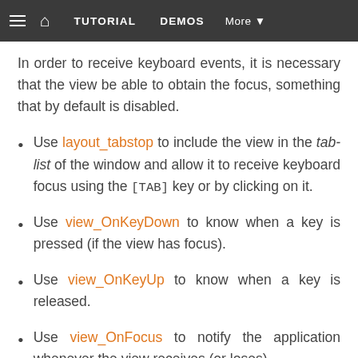TUTORIAL   DEMOS   More
In order to receive keyboard events, it is necessary that the view be able to obtain the focus, something that by default is disabled.
Use layout_tabstop to include the view in the tab-list of the window and allow it to receive keyboard focus using the [TAB] key or by clicking on it.
Use view_OnKeyDown to know when a key is pressed (if the view has focus).
Use view_OnKeyUp to know when a key is released.
Use view_OnFocus to notify the application whenever the view receives (or loses)